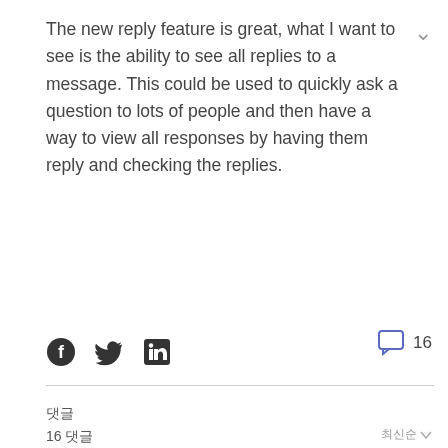The new reply feature is great, what I want to see is the ability to see all replies to a message. This could be used to quickly ask a question to lots of people and then have a way to view all responses by having them reply and checking the replies.
[Figure (infographic): Social share icons: Facebook, Twitter, LinkedIn; comment bubble icon with count 16]
댓글
16 댓글
최신순
[Figure (photo): User avatar of Assimilater - anime character with red hair]
Assimilater
2 년
2
Yes!